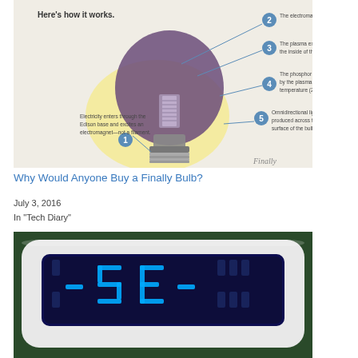[Figure (infographic): Diagram of a Finally light bulb showing how it works with 5 numbered steps: 1) Electricity enters through the Edison base and excites an electromagnet—not a filament. 2) The electromagnet creates a plasma. 3) The plasma excites the phosphor coating on the inside of the glass. 4) The phosphor converts the light created by the plasma into the desired color temperature (2700K.). 5) Omnidirectional light is produced across the entire surface of the bulb. Label 'Finally' visible in bottom right.]
Why Would Anyone Buy a Finally Bulb?
July 3, 2016
In "Tech Diary"
[Figure (photo): Photo of a white device with a rounded-rectangle blue-backlit LCD display showing characters that look like '-5E-', photographed against a green background.]